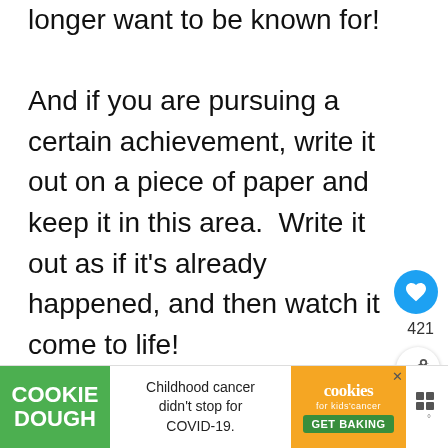longer want to be known for!

And if you are pursuing a certain achievement, write it out on a piece of paper and keep it in this area.  Write it out as if it's already happened, and then watch it come to life!
[Figure (infographic): Social media like button (heart icon in blue circle) with count 421, and share button below]
[Figure (infographic): What's Next widget showing feng shui tips for good luck with a plant thumbnail]
[Figure (infographic): Cookie Dough advertisement banner: Childhood cancer didn't stop for COVID-19. Get Baking.]